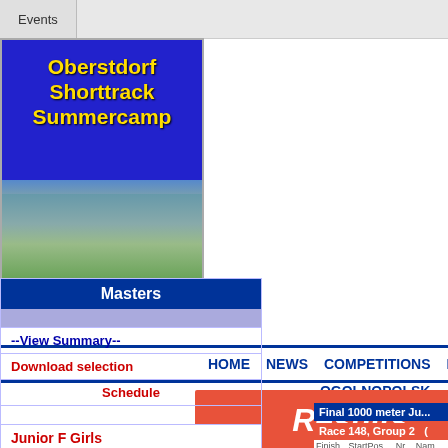Events
[Figure (photo): Oberstdorf Shorttrack Summercamp logo with landscape background, yellow text on blue background]
HOME  NEWS  COMPETITIONS  LIVE  RANKI...
OGOLNOPOLSK...
[Figure (other): Red Results button with italic white text]
Masters
--View Summary--
Download selection
Schedule
Junior F Girls
333 meter
111 m
222 meter
Overall Classification
Final 1000 meter Ju...
| Race 148, Group 2  ( |  |
| --- | --- |
| Finish | StartPos. | Nr. | Nam... |
| 1. | 1 | 45 | An... |
| 2. | 2 | 21 | We... |
| 3. | 3 | 46 | Po... |
| 4. | 4 | 15 | Jul... |
| 5. | 5 | 1 | Lili... |
| Race 149, Group 1  ( |  |
| --- | --- |
| Finish | StartPos. | Nr. | Nam... |
| 1. | 1 | 69 | Ha... |
| 2. | 2 | 22 | Mi... |